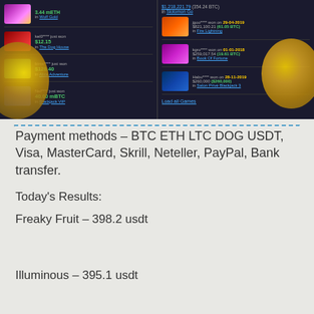[Figure (screenshot): Casino website screenshot showing recent wins on left (kel0**** just won $12.15 in The Dog House, bims**** just won $128.40 in Alice Adventure, Nel**** just won 40.00 mBTC in Blackjack VIP) and biggest wins on right (jgoo**** won on 29-04-2019 $821,100.21 (61.05 BTC) in Fire Lightning, kgro**** won on 01-01-2018 $259,017.54 (19.61 BTC) in Book Of Fortune, Habu**** won on 28-11-2019 $260,000 in Salon Prive Blackjack 3), with Load all Games link, and gold Bitcoin coins visible on sides.]
Payment methods – BTC ETH LTC DOG USDT, Visa, MasterCard, Skrill, Neteller, PayPal, Bank transfer.
Today's Results:
Freaky Fruit – 398.2 usdt
Illuminous – 395.1 usdt